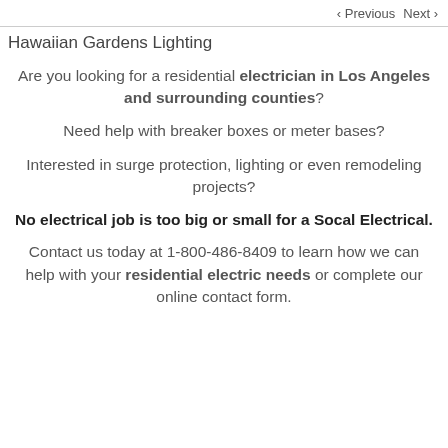‹ Previous   Next ›
Hawaiian Gardens Lighting
Are you looking for a residential electrician in Los Angeles and surrounding counties?
Need help with breaker boxes or meter bases?
Interested in surge protection, lighting or even remodeling projects?
No electrical job is too big or small for a Socal Electrical.
Contact us today at 1-800-486-8409 to learn how we can help with your residential electric needs or complete our online contact form.